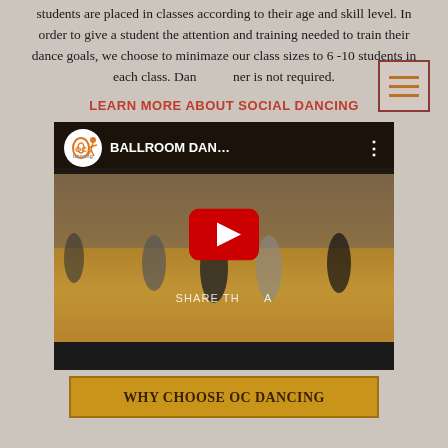students are placed in classes according to their age and skill level. In order to give a student the attention and training needed to train their dance goals, we choose to minimaze our class sizes to 6 -10 students in each class. Dance partner is not required.
LEARN MORE ABOUT SOCIAL DANCING
[Figure (screenshot): YouTube video embed showing ballroom dancing students in a dance studio. Video title reads 'BALLROOM DAN...' with OC Dancing logo. A YouTube play button overlay is visible. Text 'SHARE TH...' appears on the video. Bottom bar is dark.]
WHY CHOOSE OC DANCING